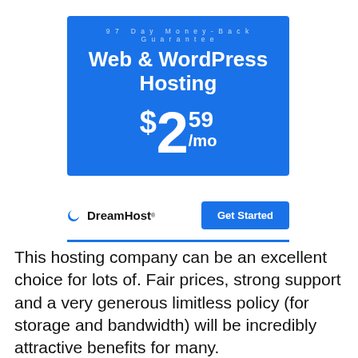[Figure (infographic): DreamHost Web & WordPress Hosting ad banner with blue background showing price $2.59/mo and 97 Day Money-Back Guarantee]
This hosting company can be an excellent choice for lots of. Fair prices, strong support and a very generous limitless policy (for storage and bandwidth) will be incredibly attractive benefits for many.